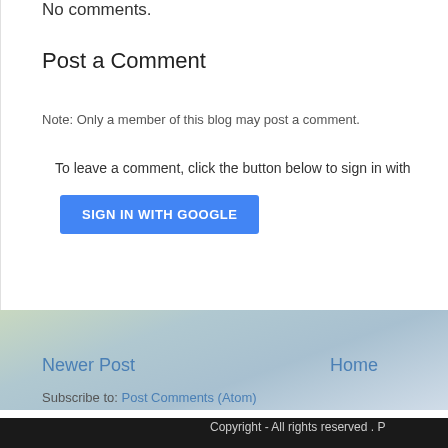No comments.
Post a Comment
Note: Only a member of this blog may post a comment.
To leave a comment, click the button below to sign in with
SIGN IN WITH GOOGLE
Newer Post
Home
Subscribe to: Post Comments (Atom)
Copyright - All rights reserved . P